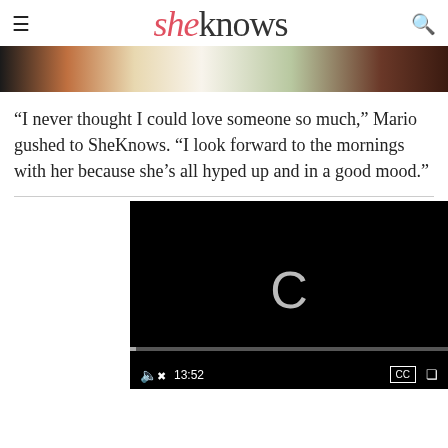sheknows
[Figure (photo): Food photo showing plates with shrimp and salad dishes on a dark table]
“I never thought I could love someone so much,” Mario gushed to SheKnows. “I look forward to the mornings with her because she’s all hyped up and in a good mood.”
[Figure (screenshot): Video player showing a loading spinner (C icon) with controls: mute icon, timestamp 13:52, CC button, fullscreen button, and a progress bar]